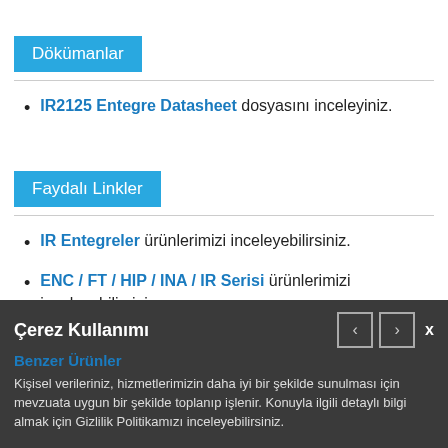Dökümanlar
IR2125 Entegre Datasheet dosyasını inceleyiniz.
Faydalı Linkler
IR Entegreler ürünlerimizi inceleyebilirsiniz.
ENC / FT / HIP / INA / IR Serisi ürünlerimizi inceleyebilirsiniz.
Benzer Ürünler
Çerez Kullanımı
Kişisel verileriniz, hizmetlerimizin daha iyi bir şekilde sunulması için mevzuata uygun bir şekilde toplanıp işlenir. Konuyla ilgili detaylı bilgi almak için Gizlilik Politikamızı inceleyebilirsiniz.